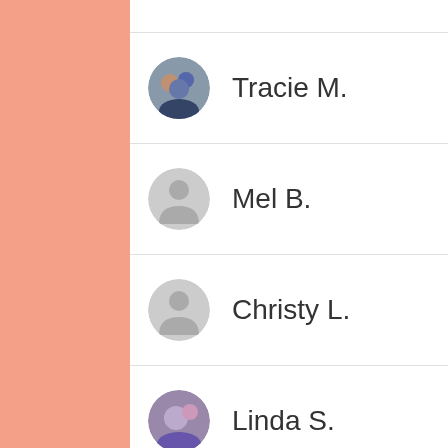[Figure (illustration): Salmon/peach colored vertical sidebar bar on the left side of the page]
Tracie M.
Mel B.
Christy L.
Linda S.